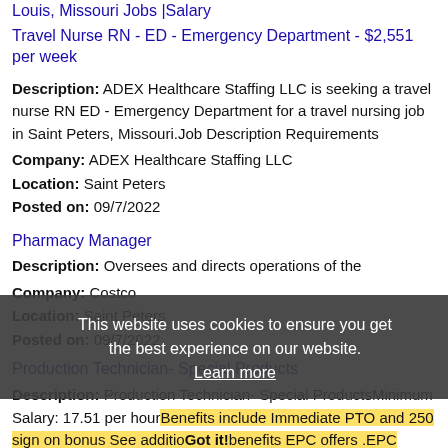Louis, Missouri Jobs |Salary
Travel Nurse RN - ED - Emergency Department - $2,551 per week
Description: ADEX Healthcare Staffing LLC is seeking a travel nurse RN ED - Emergency Department for a travel nursing job in Saint Peters, Missouri.Job Description Requirements
Company: ADEX Healthcare Staffing LLC
Location: Saint Peters
Posted on: 09/7/2022
Pharmacy Manager
Description: Oversees and directs operations of the
Company: Costco
Location: Saint Peters
Posted on: 09/7/2022
Production Technician- Special Products
Description: Production Technician- Special ProductsMinimum Salary: 17.51 per hourBenefits include Immediate PTO and 250 sign on bonus See additiobenfits EPC offers .EPC Executive Personal Computers is a (more...)
Company: Executive Personal Computers, Inc.
Location: Saint Peters